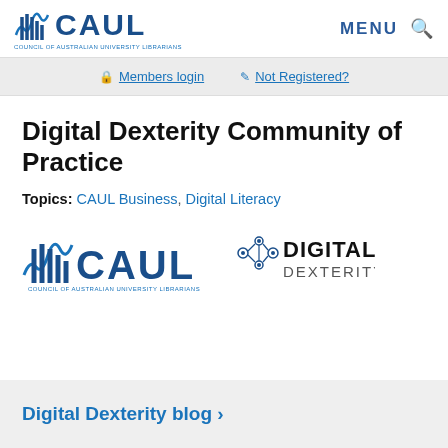CAUL - COUNCIL OF AUSTRALIAN UNIVERSITY LIBRARIANS | MENU
Members login | Not Registered?
Digital Dexterity Community of Practice
Topics: CAUL Business, Digital Literacy
[Figure (logo): CAUL Council of Australian University Librarians logo alongside Digital Dexterity logo]
Digital Dexterity blog ›